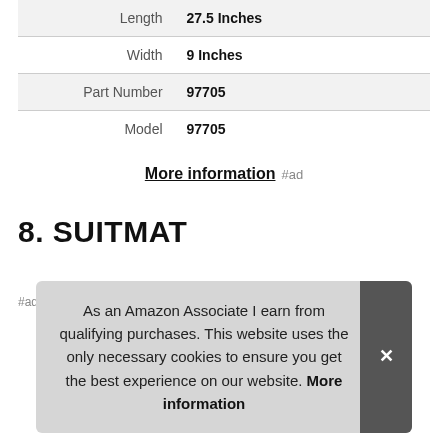|  |  |
| --- | --- |
| Length | 27.5 Inches |
| Width | 9 Inches |
| Part Number | 97705 |
| Model | 97705 |
More information #ad
8. SUITMAT
#ad
As an Amazon Associate I earn from qualifying purchases. This website uses the only necessary cookies to ensure you get the best experience on our website. More information